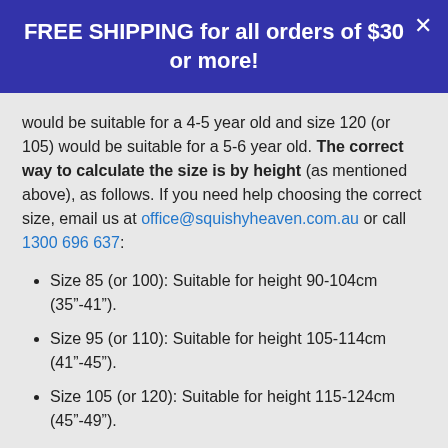FREE SHIPPING for all orders of $30 or more!
would be suitable for a 4-5 year old and size 120 (or 105) would be suitable for a 5-6 year old. The correct way to calculate the size is by height (as mentioned above), as follows. If you need help choosing the correct size, email us at office@squishyheaven.com.au or call 1300 696 637:
Size 85 (or 100): Suitable for height 90-104cm (35"-41").
Size 95 (or 110): Suitable for height 105-114cm (41"-45").
Size 105 (or 120): Suitable for height 115-124cm (45"-49").